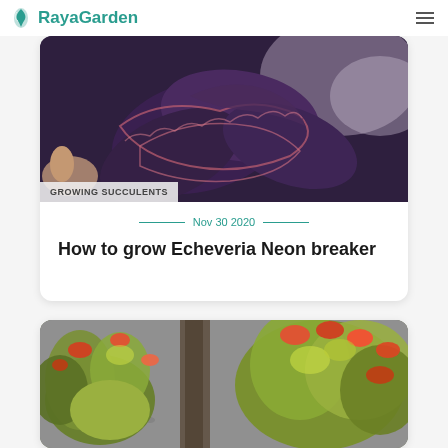RayaGarden
[Figure (photo): Close-up photo of dark purple Echeveria Neon Breaker succulent leaves with pink/red edges, partially overlapping another blurred light-colored succulent]
GROWING SUCCULENTS
Nov 30 2020
How to grow Echeveria Neon breaker
[Figure (photo): Close-up photo of green and red/orange tipped succulent plants (Crassula ovata/jade plant type) clustered together with gravel background]